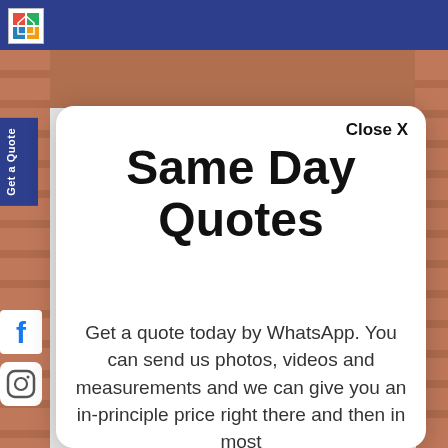[Figure (screenshot): Background photo of a brick wall and white garage/door, partially visible behind a modal popup. Left side shows rotated 'Get a Quote' tab and Facebook and Instagram social icons.]
Same Day Quotes
Close X
Get a quote today by WhatsApp. You can send us photos, videos and measurements and we can give you an in-principle price right there and then in most